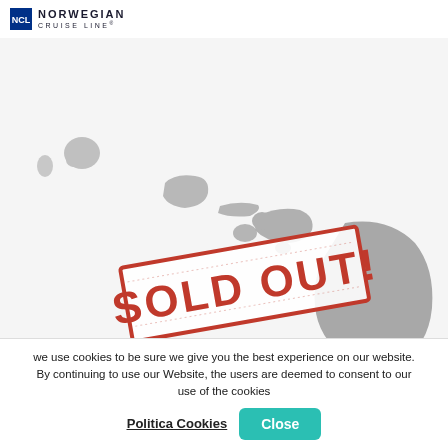Norwegian Cruise Line
[Figure (map): Map of the Hawaiian Islands chain shown in light grey on a light background, with a red SOLD OUT! stamp overlaid diagonally across the lower portion of the map. Attribution: © Stadia Maps, © OpenMapTiles, © OpenStreetMap]
we use cookies to be sure we give you the best experience on our website. By continuing to use our Website, the users are deemed to consent to our use of the cookies
Politica Cookies   Close